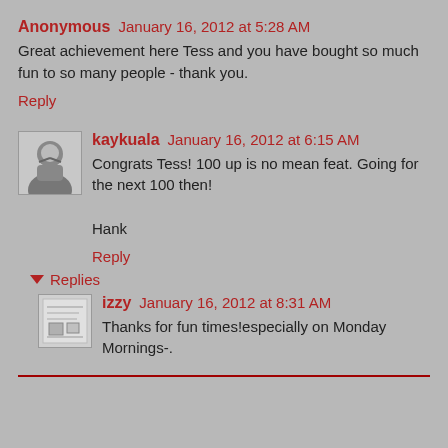Anonymous January 16, 2012 at 5:28 AM
Great achievement here Tess and you have bought so much fun to so many people - thank you.
Reply
[Figure (photo): Avatar photo of kaykuala showing a person outdoors]
kaykuala January 16, 2012 at 6:15 AM
Congrats Tess! 100 up is no mean feat. Going for the next 100 then!

Hank
Reply
Replies
[Figure (illustration): Small avatar image for izzy showing a map or illustration]
izzy January 16, 2012 at 8:31 AM
Thanks for fun times!especially on Monday Mornings-.